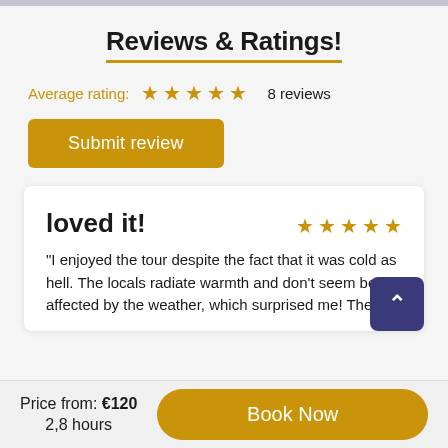Reviews & Ratings!
Average rating: ★ ★ ★ ★ ★  8 reviews
Submit review
loved it!
"I enjoyed the tour despite the fact that it was cold as hell. The locals radiate warmth and don't seem be affected by the weather, which surprised me! The
Price from: €120
2,8 hours
Book Now